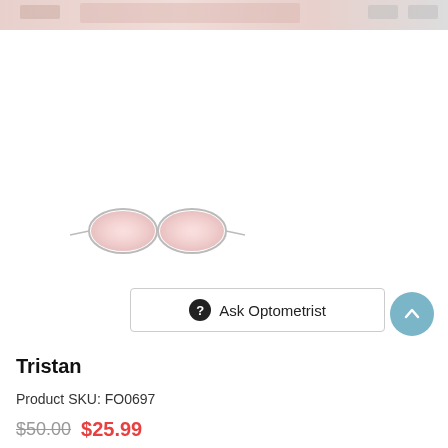[Figure (photo): Header banner showing eyeglasses product images in pink/rose tones]
[Figure (photo): Small thumbnail of round pink-tinted sunglasses (Tristan model)]
Ask Optometrist
Tristan
Product SKU: FO0697
$50.00  $25.99